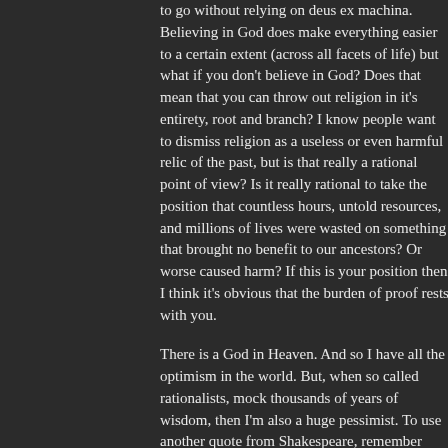to go without relying on deus ex machina. Believing in God does make everything easier to a certain extent (across all facets of life) but what if you don't believe in God? Does that mean that you can throw out religion in it's entirety, root and branch? I know people want to dismiss religion as a useless or even harmful relic of the past, but is that really a rational point of view? Is it really rational to take the position that countless hours, untold resources, and millions of lives were wasted on something that brought no benefit to our ancestors? Or worse caused harm? If this is your position then I think it's obvious that the burden of proof rests with you.
There is a God in Heaven. And so I have all the optimism in the world. But, when so called rationalists, mock thousands of years of wisdom, then I'm also a huge pessimist. To use another quote from Shakespeare, remember “There are more things in heaven and earth, than are dreamt of in your